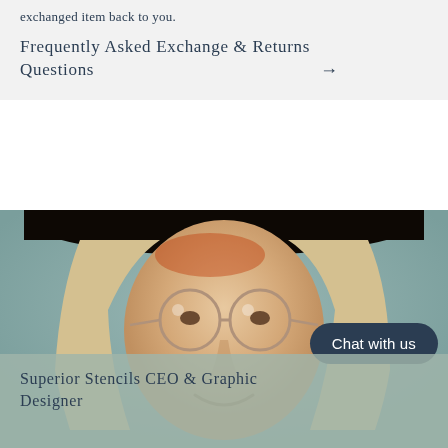exchanged item back to you.
Frequently Asked Exchange & Returns Questions →
[Figure (photo): Portrait photo of a blonde woman wearing a wide-brimmed black hat and round glasses, smiling, with a teal/grey background. She is the Superior Stencils CEO and Graphic Designer.]
Superior Stencils CEO & Graphic Designer